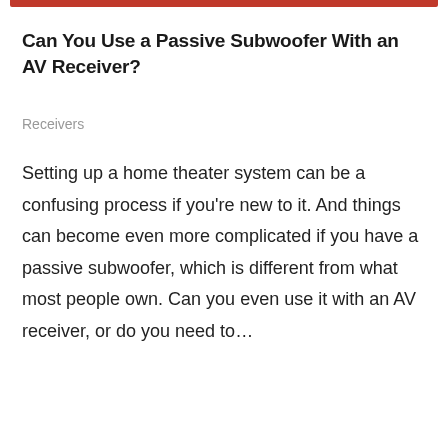Can You Use a Passive Subwoofer With an AV Receiver?
Receivers
Setting up a home theater system can be a confusing process if you're new to it. And things can become even more complicated if you have a passive subwoofer, which is different from what most people own. Can you even use it with an AV receiver, or do you need to...